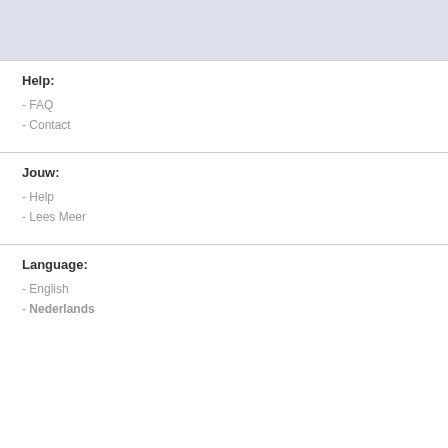Help:
- FAQ
- Contact
Jouw:
- Help
- Lees Meer
Language:
- English
- Nederlands